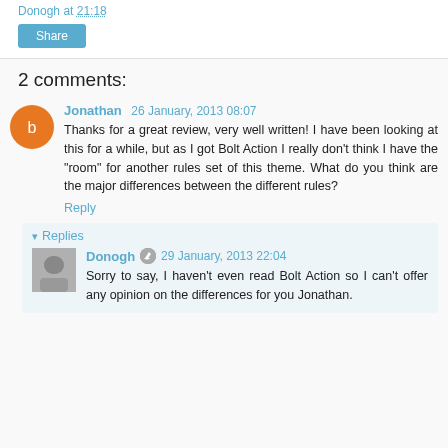Donogh at 21:18
Share
2 comments:
Jonathan 26 January, 2013 08:07
Thanks for a great review, very well written! I have been looking at this for a while, but as I got Bolt Action I really don't think I have the "room" for another rules set of this theme. What do you think are the major differences between the different rules?
Reply
Replies
Donogh 29 January, 2013 22:04
Sorry to say, I haven't even read Bolt Action so I can't offer any opinion on the differences for you Jonathan.